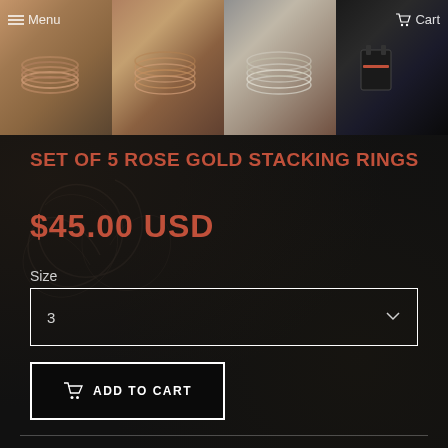[Figure (photo): Four product photos of stacking rings in a horizontal strip at the top. First image shows rose gold rings on stone with Menu navigation overlay. Second shows rose gold stacking rings on stone. Third shows silver stacking rings. Fourth shows ring packaging/accessories with Cart navigation overlay.]
SET OF 5 ROSE GOLD STACKING RINGS
$45.00 USD
Size
3
[ ADD TO CART